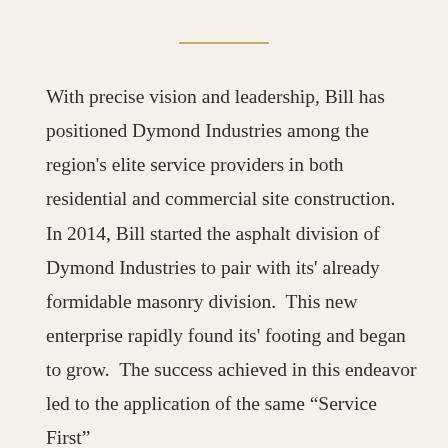With precise vision and leadership, Bill has positioned Dymond Industries among the region's elite service providers in both residential and commercial site construction.  In 2014, Bill started the asphalt division of Dymond Industries to pair with its' already formidable masonry division.  This new enterprise rapidly found its' footing and began to grow.  The success achieved in this endeavor led to the application of the same “Service First”